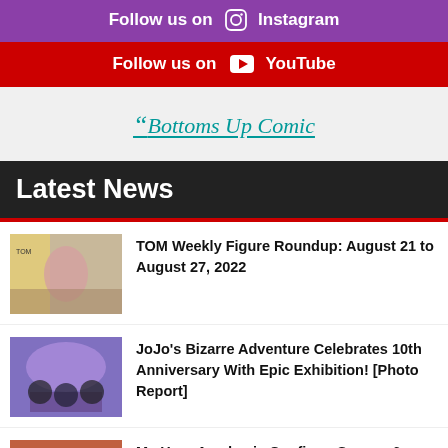Follow us on Instagram
Follow us on YouTube
Bottoms Up Comic
Latest News
TOM Weekly Figure Roundup: August 21 to August 27, 2022
JoJo's Bizarre Adventure Celebrates 10th Anniversary With Epic Exhibition! [Photo Report]
My Hero Academia Confirms Season 6 Theme Songs!